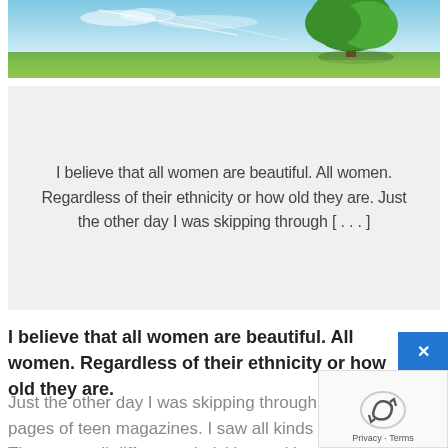[Figure (photo): A green tree standing in a bright sunny field under a blue sky with light clouds, landscape/nature photo used as a hero banner image.]
I believe that all women are beautiful. All women. Regardless of their ethnicity or how old they are. Just the other day I was skipping through [...]
I believe that all women are beautiful. All women. Regardless of their ethnicity or how old they are.
Just the other day I was skipping through the pages of teen magazines. I saw all kinds of girls. They were all different ethnicities and had different hair colors. But there was one thing in common with all of them. They were all were skinny and